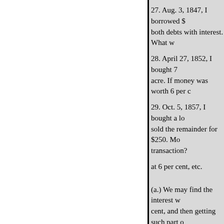27. Aug. 3, 1847, I borrowed $ both debts with interest. What w
28. April 27, 1852, I bought 7 acre. If money was worth 6 per c
29. Oct. 5, 1857, I bought a lo sold the remainder for $250. Mo transaction?
at 6 per cent, etc.
(a.) We may find the interest w cent, and then getting such part o
ILLUSTRATIONS.-Interest at 9
71
at 6 per cent.; interest at 7 per ce
6